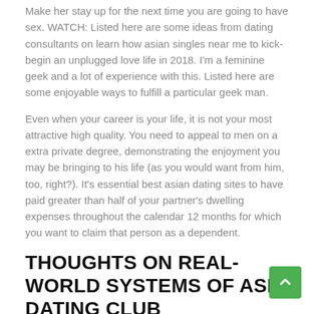Make her stay up for the next time you are going to have sex. WATCH: Listed here are some ideas from dating consultants on learn how asian singles near me to kick-begin an unplugged love life in 2018. I'm a feminine geek and a lot of experience with this. Listed here are some enjoyable ways to fulfill a particular geek man.
Even when your career is your life, it is not your most attractive high quality. You need to appeal to men on a extra private degree, demonstrating the enjoyment you may be bringing to his life (as you would want from him, too, right?). It's essential best asian dating sites to have paid greater than half of your partner's dwelling expenses throughout the calendar 12 months for which you want to claim that person as a dependent.
THOUGHTS ON REAL-WORLD SYSTEMS OF ASIA DATING CLUB